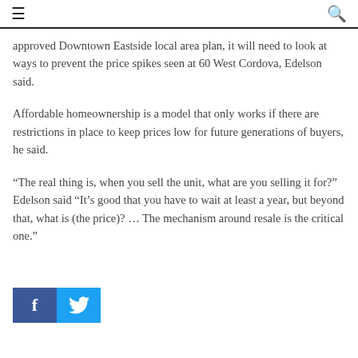≡  🔍
approved Downtown Eastside local area plan, it will need to look at ways to prevent the price spikes seen at 60 West Cordova, Edelson said.
Affordable homeownership is a model that only works if there are restrictions in place to keep prices low for future generations of buyers, he said.
“The real thing is, when you sell the unit, what are you selling it for?” Edelson said “It’s good that you have to wait at least a year, but beyond that, what is (the price)? ... The mechanism around resale is the critical one.”
[Figure (other): Social sharing buttons: Facebook (blue with f icon) and Twitter (light blue with bird icon)]